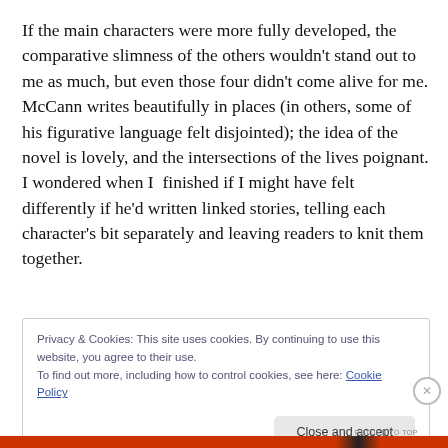If the main characters were more fully developed, the comparative slimness of the others wouldn't stand out to me as much, but even those four didn't come alive for me. McCann writes beautifully in places (in others, some of his figurative language felt disjointed); the idea of the novel is lovely, and the intersections of the lives poignant. I wondered when I  finished if I might have felt differently if he'd written linked stories, telling each character's bit separately and leaving readers to knit them together.
Privacy & Cookies: This site uses cookies. By continuing to use this website, you agree to their use. To find out more, including how to control cookies, see here: Cookie Policy